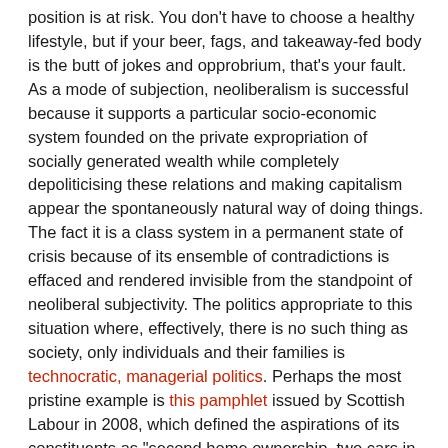position is at risk. You don't have to choose a healthy lifestyle, but if your beer, fags, and takeaway-fed body is the butt of jokes and opprobrium, that's your fault. As a mode of subjection, neoliberalism is successful because it supports a particular socio-economic system founded on the private expropriation of socially generated wealth while completely depoliticising these relations and making capitalism appear the spontaneously natural way of doing things. The fact it is a class system in a permanent state of crisis because of its ensemble of contradictions is effaced and rendered invisible from the standpoint of neoliberal subjectivity. The politics appropriate to this situation where, effectively, there is no such thing as society, only individuals and their families is technocratic, managerial politics. Perhaps the most pristine example is this pamphlet issued by Scottish Labour in 2008, which defined the aspirations of its constituents as "second home ownership, two cars in the driveway, a nice garden, two foreign holidays a year, and leisure systems in the home such as sound, cinema, and gym equipment". Forget "tribalism" and other irrationalities: vote according to your individual interest.